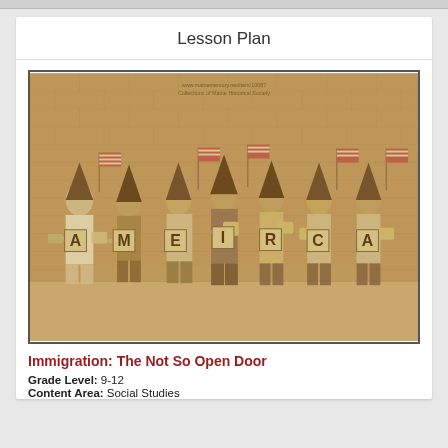Lesson Plan
[Figure (photo): Sepia-tone historical photograph of a group of boys standing against a brick wall, wearing pointed hats and holding American flags and large letter signs spelling AMERICA.]
Immigration: The Not So Open Door
Grade Level: 9-12
Content Area: Social Studies